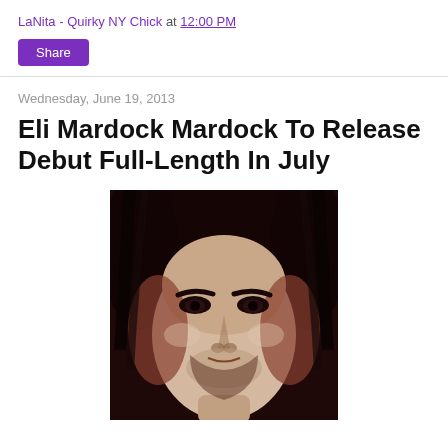LaNita - Quirky NY Chick at 12:00 PM
Share
Wednesday, June 19, 2013
Eli Mardock Mardock To Release Debut Full-Length In July
[Figure (photo): Sepia-toned close-up portrait of a man with long dark hair, thick eyebrows, dark eyes, and a short beard/stubble, looking directly at the camera with a neutral expression.]